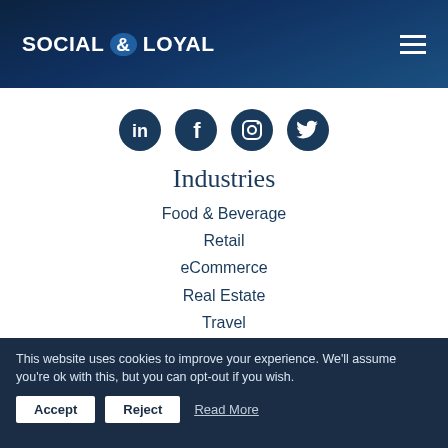SOCIAL & LOYAL
[Figure (infographic): Four social media icon circles: LinkedIn, Facebook, Instagram, Twitter — dark navy circular buttons]
Industries
Food & Beverage
Retail
eCommerce
Real Estate
Travel
Cosmetics
Resources
Case Studies
Blog
This website uses cookies to improve your experience. We'll assume you're ok with this, but you can opt-out if you wish. Accept Reject Read More